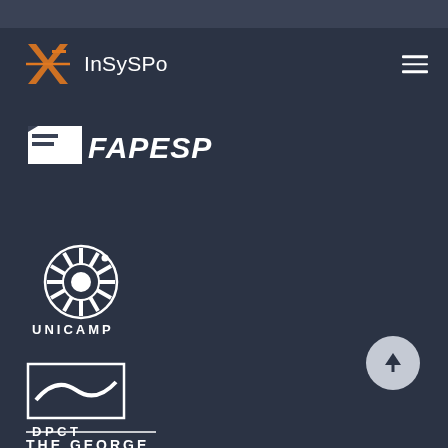[Figure (logo): InSySPo website header with logo (orange angular arrow/cross shape) and text 'InSySPo', plus hamburger menu icon on right]
[Figure (logo): FAPESP logo — white flag/banner icon with bold italic text 'FAPESP']
[Figure (logo): UNICAMP logo — white circular gear/seal emblem with 'UNICAMP' text below]
[Figure (logo): DPCT logo — white rectangular logo with wavy line and 'DPCT' text below]
[Figure (logo): THE GEORGE — partial white text logo at bottom, cut off]